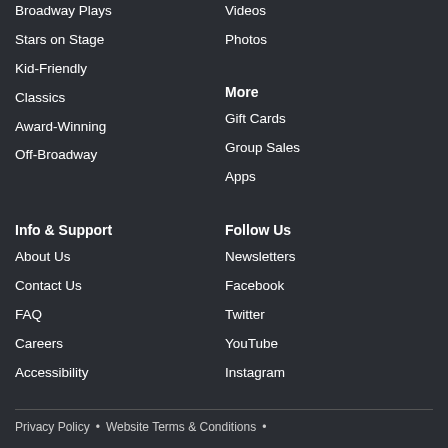Broadway Plays
Videos
Stars on Stage
Photos
Kid-Friendly
More
Classics
Gift Cards
Award-Winning
Group Sales
Off-Broadway
Apps
Info & Support
Follow Us
About Us
Newsletters
Contact Us
Facebook
FAQ
Twitter
Careers
YouTube
Accessibility
Instagram
Privacy Policy • Website Terms & Conditions •